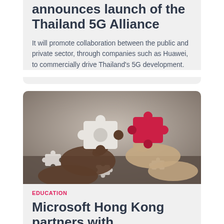announces launch of the Thailand 5G Alliance
It will promote collaboration between the public and private sector, through companies such as Huawei, to commercially drive Thailand's 5G development.
[Figure (photo): Two hands holding puzzle pieces — one white piece and one red piece — about to connect, with more white puzzle pieces scattered on a dark surface in the background.]
EDUCATION
Microsoft Hong Kong partners with